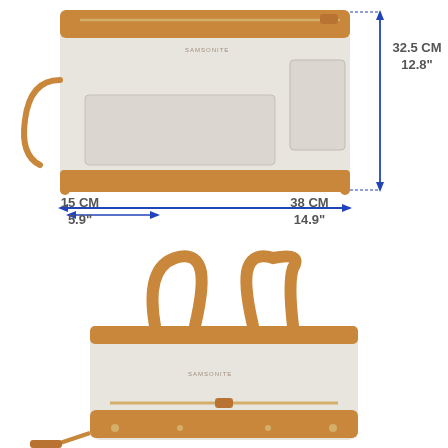[Figure (photo): Top view of a white and tan/brown leather handbag (crossbody/shoulder bag) with dimension annotations showing height 32.5 CM / 12.8 inches, width 38 CM / 14.9 inches, and depth 15 CM / 5.9 inches. Blue arrows indicate each dimension.]
[Figure (photo): Front view of a white and tan/brown leather duffel/tote bag with dual brown leather handles and a gold zipper accent at the bottom front.]